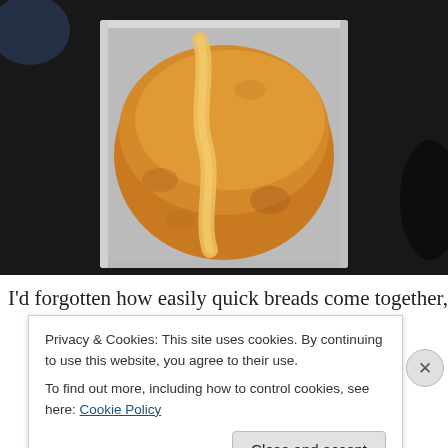[Figure (photo): A golden-brown baked quick bread loaf in a silver metal loaf pan, photographed from above on a dark stovetop background. The top of the loaf has a characteristic crack running along the center length.]
I'd forgotten how easily quick breads come together, and
Privacy & Cookies: This site uses cookies. By continuing to use this website, you agree to their use.
To find out more, including how to control cookies, see here: Cookie Policy
Close and accept